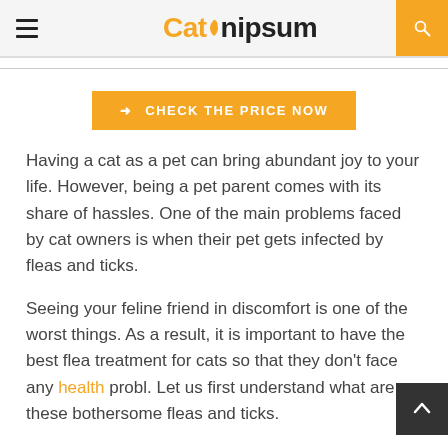Catnipsum
CHECK THE PRICE NOW
Having a cat as a pet can bring abundant joy to your life. However, being a pet parent comes with its share of hassles. One of the main problems faced by cat owners is when their pet gets infected by fleas and ticks.
Seeing your feline friend in discomfort is one of the worst things. As a result, it is important to have the best flea treatment for cats so that they don't face any health problems. Let us first understand what are these bothersome fleas and ticks.